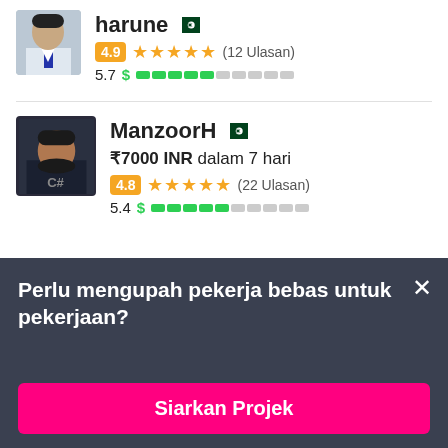[Figure (photo): Partial top profile photo of a man in suit]
harune (Pakistan flag) 4.9 ★★★★★ (12 Ulasan) 5.7 $ ▓▓▓▓▓░░░░░
[Figure (photo): Profile photo of ManzoorH, man in dark hoodie with C# logo]
ManzoorH (Pakistan flag) ₹7000 INR dalam 7 hari 4.8 ★★★★★ (22 Ulasan) 5.4 $ ▓▓▓▓▓░░░░░
Perlu mengupah pekerja bebas untuk pekerjaan?
Siarkan Projek